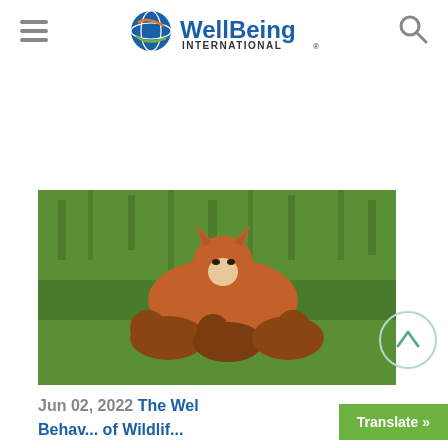WellBeing International
[Figure (photo): A red fox mother sitting in green grass with several fox cubs nursing or resting beneath her]
Jun 02, 2022 The Wel...
Behav... of Wildlif...